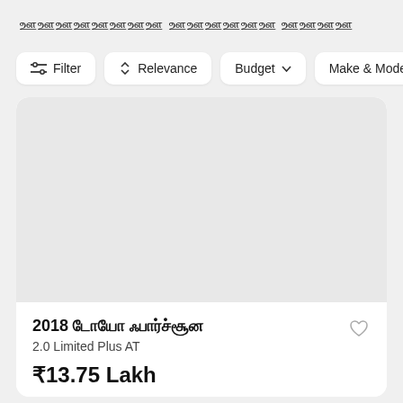ஊஊஊஊஊஊஊஊ ஊஊஊஊஊஊ ஊஊஊஊ
Filter
Relevance
Budget
Make & Model
[Figure (photo): Car image placeholder - light grey rectangle]
2018 டோயோ ஃபார்ச்சூன
2.0 Limited Plus AT
₹13.75 Lakh